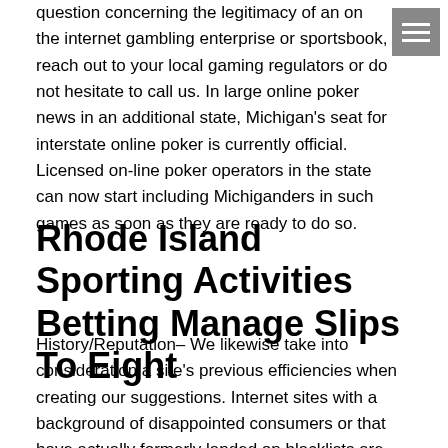question concerning the legitimacy of an on the internet gambling enterprise or sportsbook, reach out to your local gaming regulators or do not hesitate to call us. In large online poker news in an additional state, Michigan's seat for interstate online poker is currently official. Licensed on-line poker operators in the state can now start including Michiganders in such games as soon as they are ready to do so.
Rhode Island Sporting Activities Betting Manage Slips To Eight
History/Reputation– We likewise take into consideration a site's previous efficiencies when creating our suggestions. Internet sites with a background of disappointed consumers or that have actually formerly landed on blacklists are prevented. Constantly read the conditions before registering at any kind of web site. Various circumstances of betting fraud have actually resulted in big penalties and also even jail time. As an